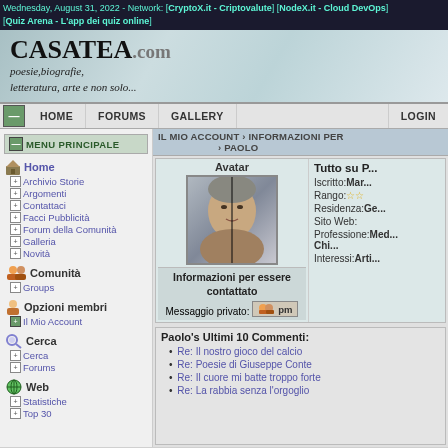Wednesday, August 31, 2022 - Network: [CryptoX.it - Criptovalute] [NodeX.it - Cloud DevOps] [Quiz Arena - L'app dei quiz online]
[Figure (logo): CASATEA.com logo with tagline: poesie, biografie, letteratura, arte e non solo...]
HOME | FORUMS | GALLERY | LOGIN
MENU PRINCIPALE
Home
Archivio Storie
Argomenti
Contattaci
Facci Pubblicità
Forum della Comunità
Galleria
Novità
Comunità
Groups
Opzioni membri
Il Mio Account
Cerca
Cerca
Forums
Web
Statistiche
Top 30
IL MIO ACCOUNT › INFORMAZIONI PER › PAOLO
Avatar | Tutto su P... Iscritto: Ma... Rango: ☆☆ Residenza: Ge... Sito Web: Professione: Med... Chi... Interessi: Arti...
Informazioni per essere contattato
Messaggio privato: [pm]
Paolo's Ultimi 10 Commenti:
Re: Il nostro gioco del calcio
Re: Poesie di Giuseppe Conte
Re: Il cuore mi batte troppo forte
Re: La rabbia senza l'orgoglio